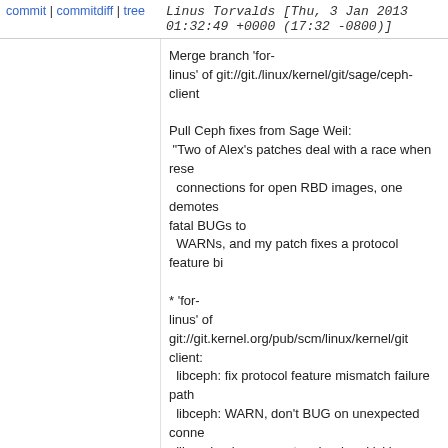commit | commitdiff | tree    Linus Torvalds [Thu, 3 Jan 2013 01:32:49 +0000 (17:32 -0800)]
Merge branch 'for-linus' of git://git./linux/kernel/git/sage/ceph-client

Pull Ceph fixes from Sage Weil:
 "Two of Alex's patches deal with a race when resetting connections for open RBD images, one demotes fatal BUGs to
  WARNs, and my patch fixes a protocol feature bi

* 'for-linus' of git://git.kernel.org/pub/scm/linux/kernel/git/... client:
  libceph: fix protocol feature mismatch failure path
  libceph: WARN, don't BUG on unexpected conne
  libceph: always reset osds when kicking
  libceph: move linger requests sooner in kick_requ
9 years ago mutex to spinlock   mm: mempolicy: Convert shared_policy mutex to spinlock
commit | commitdiff | tree    Mel Gorman [Fri, 21 Dec 2012 23:10:25 +0000 (23:10 +0000)]
mm: mempolicy: Convert shared_policy mutex to s